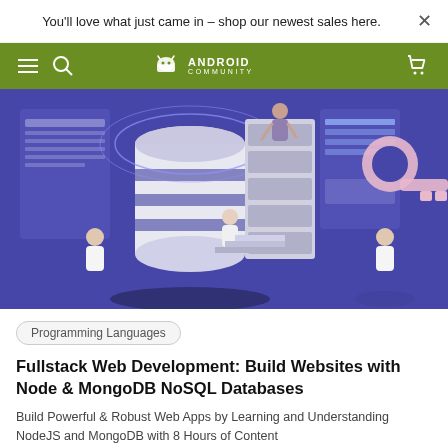You'll love what just came in – shop our newest sales here. ×
[Figure (logo): Android Community navigation bar with hamburger menu, search icon, Android Community logo, and cart icon on olive/green background]
[Figure (illustration): Isometric illustration of developers working with a large database cylinder, server stacks, a key, and monitors on a purple/blue background]
Programming Languages
Fullstack Web Development: Build Websites with Node & MongoDB NoSQL Databases
Build Powerful & Robust Web Apps by Learning and Understanding NodeJS and MongoDB with 8 Hours of Content